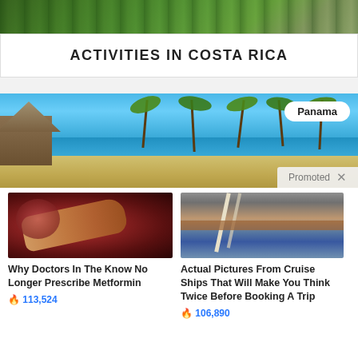[Figure (photo): Top banner photo showing tropical forest/jungle path from above]
ACTIVITIES IN COSTA RICA
[Figure (photo): Promotional banner for Panama showing tropical beach with palm trees, thatched hut, turquoise water, with 'Panama' badge and 'Promoted X' label]
[Figure (photo): Advertisement thumbnail: medical/biological close-up image]
Why Doctors In The Know No Longer Prescribe Metformin
🔥 113,524
[Figure (photo): Advertisement thumbnail: aerial view of cruise ship deck/pier]
Actual Pictures From Cruise Ships That Will Make You Think Twice Before Booking A Trip
🔥 106,890